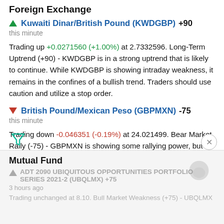Foreign Exchange
▲ Kuwaiti Dinar/British Pound (KWDGBP) +90
this minute
Trading up +0.0271560 (+1.00%) at 2.7332596. Long-Term Uptrend (+90) - KWDGBP is in a strong uptrend that is likely to continue. While KWDGBP is showing intraday weakness, it remains in the confines of a bullish trend. Traders should use caution and utilize a stop order.
▼ British Pound/Mexican Peso (GBPMXN) -75
this minute
Trading down -0.046351 (-0.19%) at 24.021499. Bear Market Rally (-75) - GBPMXN is showing some rallying power, but still remains in the confines of a long-term downtrend. Keep an eye on GBPMXN as it may be in the beginning of a reversal.
Mutual Fund
ADT 2090 UBIQUITOUS OPPORTUNITIES PORTFOLIO SERIES 2021-2 (UBQLMX) +75
3 hours ago
Trading unchanged at 8.10. Bull Market Weakness (+75) - UBQLMX